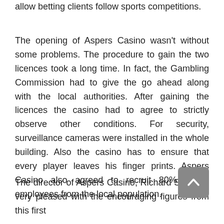allow betting clients follow sports competitions.
The opening of Aspers Casino wasn't without some problems. The procedure to gain the two licences took a long time. In fact, the Gambling Commission had to give the go ahead along with the local authorities. After gaining the licences the casino had to agree to strictly observe other conditions. For security, surveillance cameras were installed in the whole building. Also the casino has to ensure that every player leaves his finger prints. Aspers Casino also agreed to recruit 80% of its employees from the local population.
The director of Aspers Casino, Richard Smith, is very pleased with the encouraging figures from this first